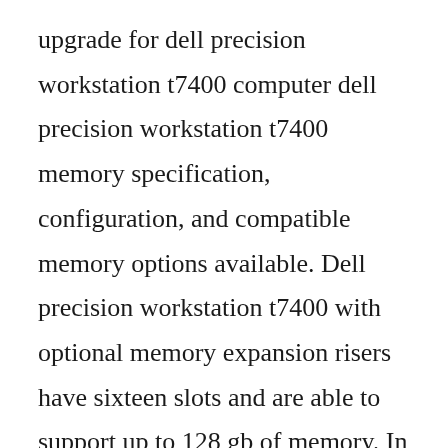upgrade for dell precision workstation t7400 computer dell precision workstation t7400 memory specification, configuration, and compatible memory options available. Dell precision workstation t7400 with optional memory expansion risers have sixteen slots and are able to support up to 128 gb of memory. In 2006, the t7400 was a midrange to highend laptop processor. Dell precision t7400 tower workstation details dell united. We also supply unlimited lifetime tech support for this item. If you mix memory speeds, the system will perform at the lower